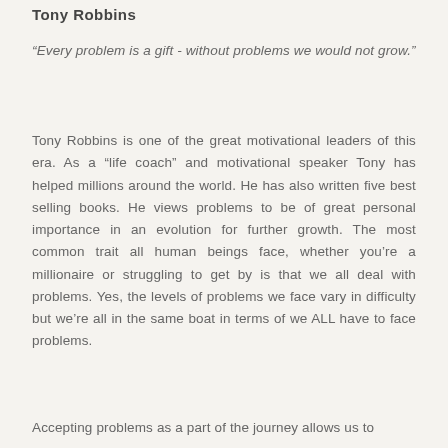Tony Robbins
“Every problem is a gift - without problems we would not grow.”
Tony Robbins is one of the great motivational leaders of this era. As a “life coach” and motivational speaker Tony has helped millions around the world. He has also written five best selling books. He views problems to be of great personal importance in an evolution for further growth. The most common trait all human beings face, whether you’re a millionaire or struggling to get by is that we all deal with problems. Yes, the levels of problems we face vary in difficulty but we’re all in the same boat in terms of we ALL have to face problems.
Accepting problems as a part of the journey allows us to